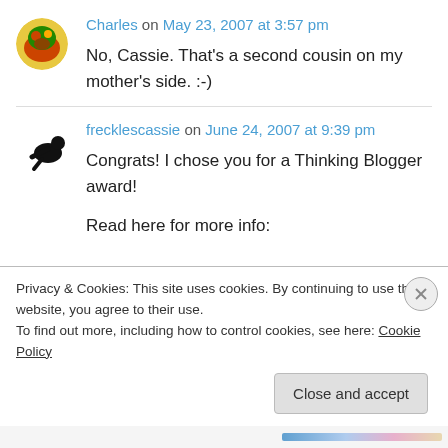Charles on May 23, 2007 at 3:57 pm
No, Cassie. That's a second cousin on my mother's side. :-)
frecklescassie on June 24, 2007 at 9:39 pm
Congrats! I chose you for a Thinking Blogger award!
Read here for more info:
Privacy & Cookies: This site uses cookies. By continuing to use this website, you agree to their use. To find out more, including how to control cookies, see here: Cookie Policy
Close and accept